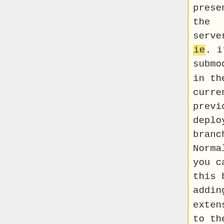present on the servers, ie. it is a submodule in the current and previous deployment branch. Normally you can do this by adding the extension to the <code>extensions</code> array in <code>make-wmf-</code>